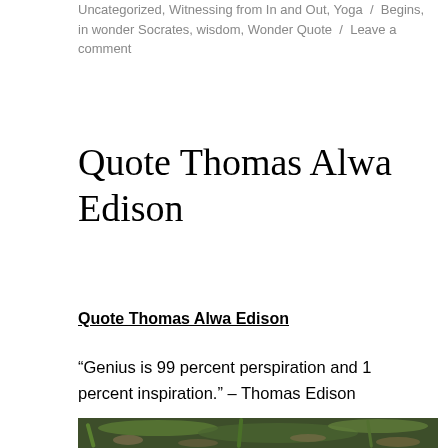Uncategorized, Witnessing from In and Out, Yoga / Begins, in wonder Socrates, wisdom, Wonder Quote / Leave a comment
Quote Thomas Alwa Edison
Quote Thomas Alwa Edison
“Genius is 99 percent perspiration and 1 percent inspiration.” – Thomas Edison
[Figure (photo): Close-up photograph of plant stems and leaves on a forest floor covered with dry brown leaves and soil]